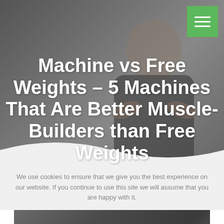[Figure (photo): Hero section with a muscular man standing with arms crossed against a dark gray background, with a green hamburger menu button in the top right corner]
Machine vs Free Weights – 5 Machines That Are Better Muscle-Builders than Free Weights
We use cookies to ensure that we give you the best experience on our website. If you continue to use this site we will assume that you are happy with it.
[Figure (photo): Bottom portion of a photo showing a person in what appears to be a gym setting]